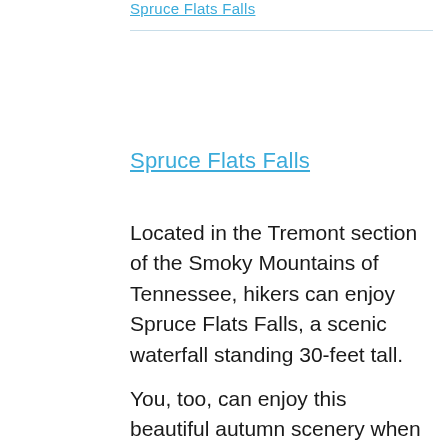Spruce Flats Falls
Spruce Flats Falls
Located in the Tremont section of the Smoky Mountains of Tennessee, hikers can enjoy Spruce Flats Falls, a scenic waterfall standing 30-feet tall.
You, too, can enjoy this beautiful autumn scenery when you